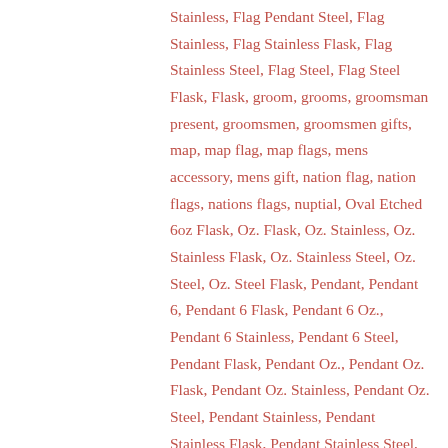Stainless, Flag Pendant Steel, Flag Stainless, Flag Stainless Flask, Flag Stainless Steel, Flag Steel, Flag Steel Flask, Flask, groom, grooms, groomsman present, groomsmen, groomsmen gifts, map, map flag, map flags, mens accessory, mens gift, nation flag, nation flags, nations flags, nuptial, Oval Etched 6oz Flask, Oz. Flask, Oz. Stainless, Oz. Stainless Flask, Oz. Stainless Steel, Oz. Steel, Oz. Steel Flask, Pendant, Pendant 6, Pendant 6 Flask, Pendant 6 Oz., Pendant 6 Stainless, Pendant 6 Steel, Pendant Flask, Pendant Oz., Pendant Oz. Flask, Pendant Oz. Stainless, Pendant Oz. Steel, Pendant Stainless, Pendant Stainless Flask, Pendant Stainless Steel, Pendant Steel, Pendant Steel Flask, Poland, Poland 6, Poland 6 Flask, Poland 6 Oz., Poland 6 Stainless, Poland 6 Steel, Poland Flag, Poland Flag 6, Poland Flag Flask, Poland Flag Oz.,